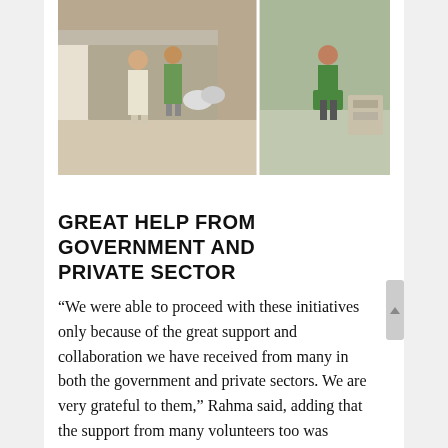[Figure (photo): Volunteers and workers in green uniforms unloading supplies from a truck, outdoor setting.]
GREAT HELP FROM GOVERNMENT AND PRIVATE SECTOR
“We were able to proceed with these initiatives only because of the great support and collaboration we have received from many in both the government and private sectors. We are very grateful to them,” Rahma said, adding that the support from many volunteers too was overwhelming.